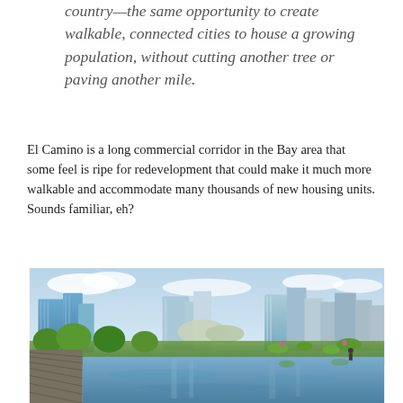country—the same opportunity to create walkable, connected cities to house a growing population, without cutting another tree or paving another mile.
El Camino is a long commercial corridor in the Bay area that some feel is ripe for redevelopment that could make it much more walkable and accommodate many thousands of new housing units. Sounds familiar, eh?
[Figure (photo): Cityscape photo showing a modern city skyline with tall glass skyscrapers in the background, green gardens and water feature with lily pads in the foreground, with reflections visible in the water. A walkway or bridge structure visible on the left side.]